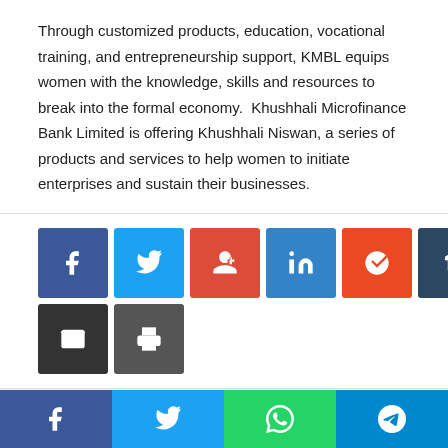Through customized products, education, vocational training, and entrepreneurship support, KMBL equips women with the knowledge, skills and resources to break into the formal economy.  Khushhali Microfinance Bank Limited is offering Khushhali Niswan, a series of products and services to help women to initiate enterprises and sustain their businesses.
[Figure (infographic): Social sharing icon buttons: Facebook, Twitter, Google+, LinkedIn, StumbleUpon, Tumblr, Pinterest, Reddit, VK, Email, Print]
Related Articles
[Figure (infographic): Bottom social share bar with Facebook, Twitter, WhatsApp, and Telegram buttons]